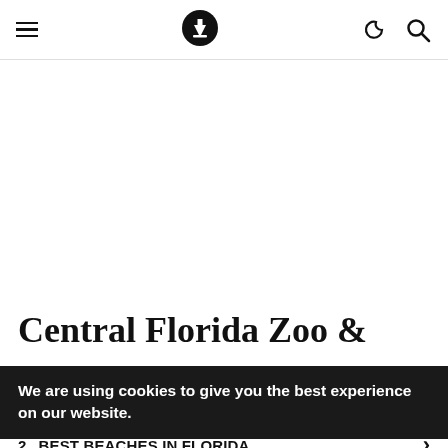≡  ⬇  ☾  🔍
Central Florida Zoo &
We are using cookies to give you the best experience on our website.
Search for
1. MOST POPULAR TOURIST
2. BEST BEACHES IN FLORIDA
Yahoo! Search | Sponsored